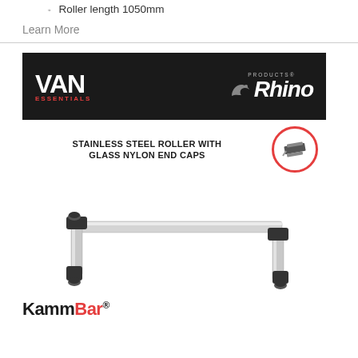Roller length 1050mm
Learn More
[Figure (illustration): Van Essentials and Rhino Products branded banner showing a KammBar roof rack product. The banner has a dark background with 'VAN ESSENTIALS' in white/red on the left and 'Rhino Products' logo with rhino silhouette on the right. Below shows 'STAINLESS STEEL ROLLER WITH GLASS NYLON END CAPS' text with a circular red icon. A silver aluminum roof rack bar assembly (KammBar) is shown in perspective view. At the bottom is the KammBar logo with red 'Bar' text.]
KammBar®